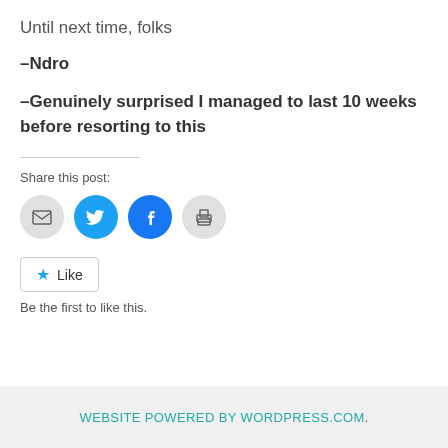Until next time, folks
–Ndro
–Genuinely surprised I managed to last 10 weeks before resorting to this
Share this post:
[Figure (infographic): Share icons: email, Twitter, Facebook, print]
[Figure (infographic): Like button with star icon]
Be the first to like this.
WEBSITE POWERED BY WORDPRESS.COM.